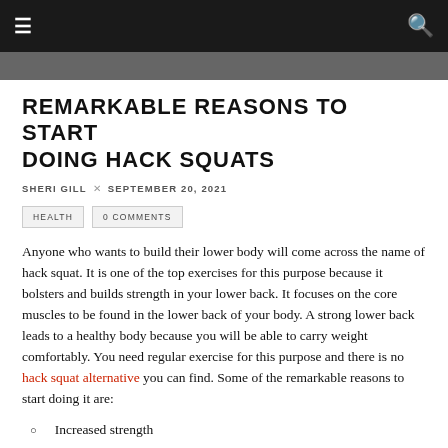☰  🔍
REMARKABLE REASONS TO START DOING HACK SQUATS
SHERI GILL × SEPTEMBER 20, 2021
HEALTH   0 COMMENTS
Anyone who wants to build their lower body will come across the name of hack squat. It is one of the top exercises for this purpose because it bolsters and builds strength in your lower back. It focuses on the core muscles to be found in the lower back of your body. A strong lower back leads to a healthy body because you will be able to carry weight comfortably. You need regular exercise for this purpose and there is no hack squat alternative you can find. Some of the remarkable reasons to start doing it are:
Increased strength